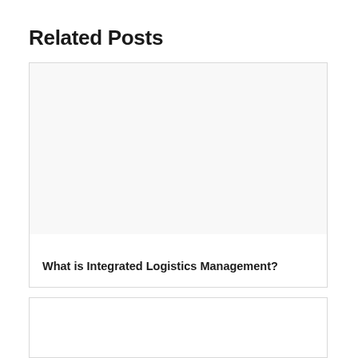Related Posts
[Figure (other): Card with blank image area and title text 'What is Integrated Logistics Management?']
What is Integrated Logistics Management?
[Figure (other): Second card with blank image area, partially visible at bottom of page]